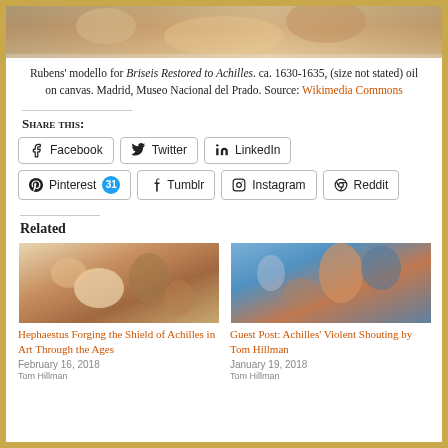[Figure (photo): Partial top of Rubens painting, Baroque style figures]
Rubens' modello for Briseis Restored to Achilles. ca. 1630-1635, (size not stated) oil on canvas. Madrid, Museo Nacional del Prado. Source: Wikimedia Commons
Share this:
Share buttons: Facebook, Twitter, LinkedIn, Pinterest 31, Tumblr, Instagram, Reddit
Related
[Figure (photo): Thumbnail of painting: Hephaestus Forging the Shield of Achilles]
Hephaestus Forging the Shield of Achilles in Art Through the Ages
February 16, 2018
[Figure (photo): Thumbnail: warrior in helmet with red cape]
Guest Post: Achilles' Violent Shouting by Tom Hillman
January 19, 2018